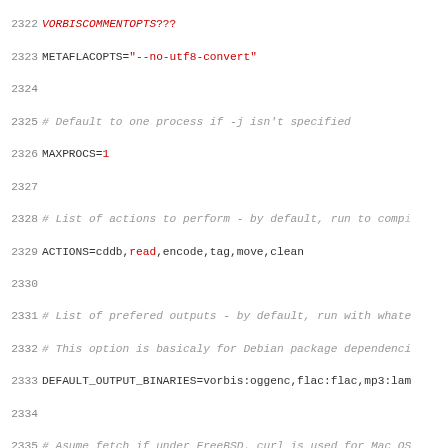[Figure (screenshot): Source code listing showing shell script configuration lines numbered 2322-2354, with comments in gray italic, string literals in red, and keywords like 'if', 'elif', 'then', 'else' in bold monospace font.]